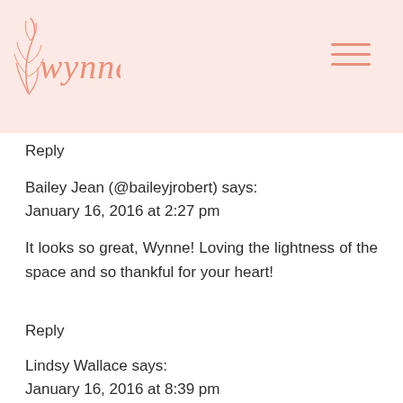wynne elder
Reply
Bailey Jean (@baileyjrobert) says:
January 16, 2016 at 2:27 pm
It looks so great, Wynne! Loving the lightness of the space and so thankful for your heart!
Reply
Lindsy Wallace says:
January 16, 2016 at 8:39 pm
Yes, it's beautiful! Can't wait to read